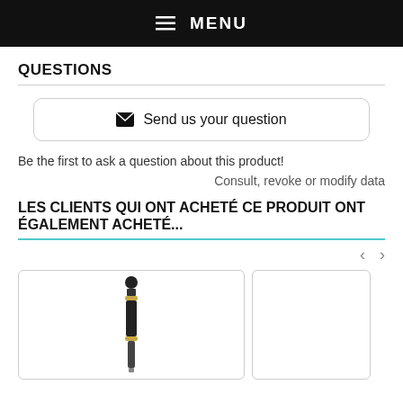MENU
QUESTIONS
Send us your question
Be the first to ask a question about this product!
Consult, revoke or modify data
LES CLIENTS QUI ONT ACHETÉ CE PRODUIT ONT ÉGALEMENT ACHETÉ...
[Figure (photo): Product image showing a black telescopic stick/baton with a round top and gold/silver connector ring]